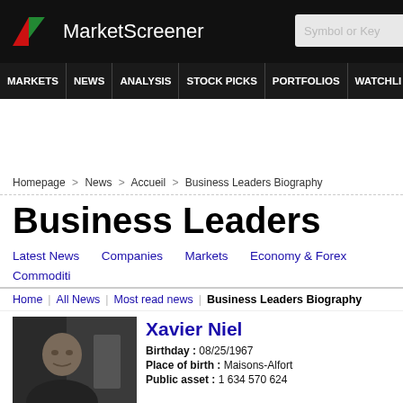MarketScreener — Symbol or Key... | MARKETS | NEWS | ANALYSIS | STOCK PICKS | PORTFOLIOS | WATCHLI...
Homepage > News > Accueil > Business Leaders Biography
Business Leaders
Latest News   Companies   Markets   Economy & Forex   Commoditi...
Home | All News | Most read news | Business Leaders Biography
[Figure (photo): Photo of Xavier Niel, a middle-aged man in dark clothing against a dark background]
Xavier Niel
Birthday : 08/25/1967
Place of birth : Maisons-Alfort...
Public asset : 1 634 570 624...